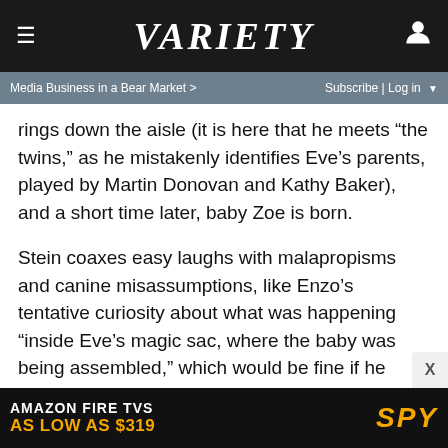VARIETY
Media Business in a Bear Market > Subscribe | Log in
rings down the aisle (it is here that he meets “the twins,” as he mistakenly identifies Eve’s parents, played by Martin Donovan and Kathy Baker), and a short time later, baby Zoe is born.
Stein coaxes easy laughs with malapropisms and canine misassumptions, like Enzo’s tentative curiosity about what was happening “inside Eve’s magic sac, where the baby was being assembled,” which would be fine if he weren’t so preternaturally profound when the screenplay calls for it. As a point of contrast, it’s worth considering two animated projects that more genuinely capture the canine spirit: Pixar’s “Up,” in which Dug’s dog-translating collar reveals how basic its thoughts truly are, and Disney’s Oscar-winning short “Feast,” which traverses a couple’s relationship from the dog’s POV. “The Art of Racing i
[Figure (screenshot): Amazon Fire TVs As Low As $319 advertisement banner with SPY logo]